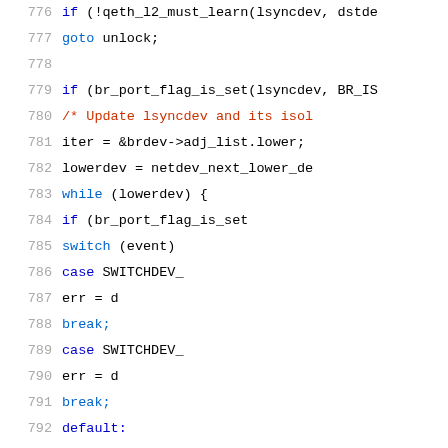[Figure (screenshot): Source code viewer showing C kernel code lines 776-797 with syntax highlighting. Line numbers in gray on left, keywords in blue, comments in red/orange, identifiers in black.]